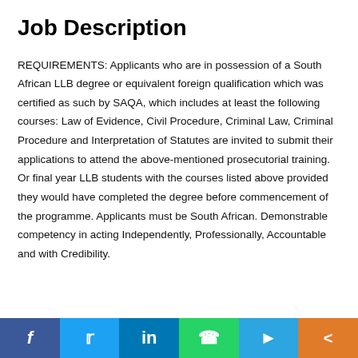Job Description
REQUIREMENTS: Applicants who are in possession of a South African LLB degree or equivalent foreign qualification which was certified as such by SAQA, which includes at least the following courses: Law of Evidence, Civil Procedure, Criminal Law, Criminal Procedure and Interpretation of Statutes are invited to submit their applications to attend the above-mentioned prosecutorial training. Or final year LLB students with the courses listed above provided they would have completed the degree before commencement of the programme. Applicants must be South African. Demonstrable competency in acting Independently, Professionally, Accountable and with Credibility.